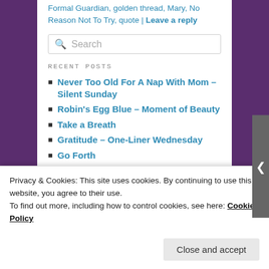Formal Guardian, golden thread, Mary, No Reason Not To Try, quote | Leave a reply
[Figure (screenshot): Search input box with magnifying glass icon and placeholder text 'Search']
RECENT POSTS
Never Too Old For A Nap With Mom – Silent Sunday
Robin's Egg Blue – Moment of Beauty
Take a Breath
Gratitude – One-Liner Wednesday
Go Forth
RECENT COMMENTS
Privacy & Cookies: This site uses cookies. By continuing to use this website, you agree to their use.
To find out more, including how to control cookies, see here: Cookie Policy
Close and accept